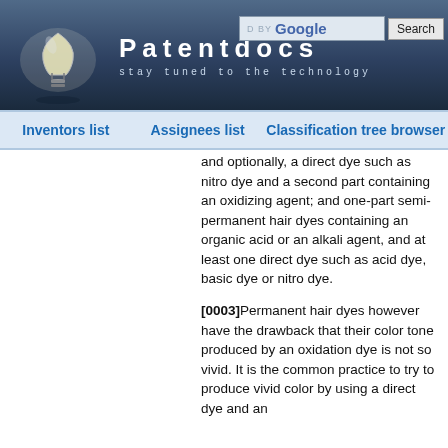[Figure (logo): Patentdocs website header with lightbulb logo, site title 'Patentdocs', tagline 'stay tuned to the technology', and Google search box]
Inventors list   Assignees list   Classification tree browser
and optionally, a direct dye such as nitro dye and a second part containing an oxidizing agent; and one-part semi-permanent hair dyes containing an organic acid or an alkali agent, and at least one direct dye such as acid dye, basic dye or nitro dye.
[0003]Permanent hair dyes however have the drawback that their color tone produced by an oxidation dye is not so vivid. It is the common practice to try to produce vivid color by using a direct dye and an